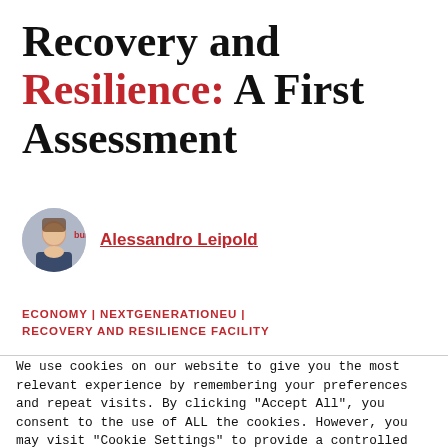Recovery and Resilience: A First Assessment
Alessandro Leipold
ECONOMY | NEXTGENERATIONEU | RECOVERY AND RESILIENCE FACILITY
We use cookies on our website to give you the most relevant experience by remembering your preferences and repeat visits. By clicking "Accept All", you consent to the use of ALL the cookies. However, you may visit "Cookie Settings" to provide a controlled consent.
Cookie Settings   Accept All